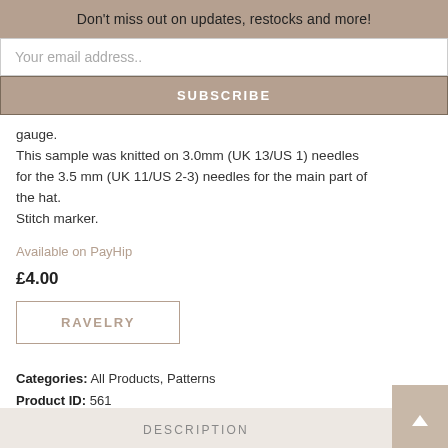Don't miss out on updates, restocks and more!
Your email address..
SUBSCRIBE
gauge.
This sample was knitted on 3.0mm (UK 13/US 1) needles for the 3.5 mm (UK 11/US 2-3) needles for the main part of the hat.
Stitch marker.
Available on PayHip
£4.00
RAVELRY
Categories: All Products, Patterns
Product ID: 561
DESCRIPTION